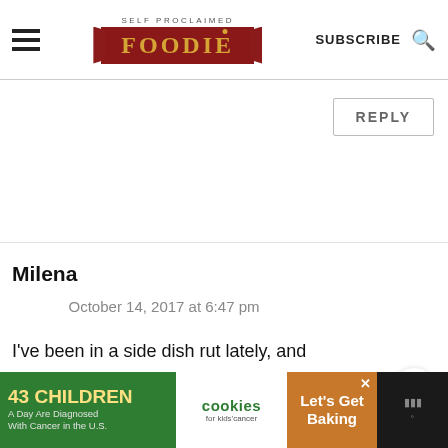SELF PROCLAIMED FOODIE | SUBSCRIBE
REPLY
Milena
October 14, 2017 at 6:47 pm
I've been in a side dish rut lately, and this looks delicious! Thanks for sharing!
WHAT'S NEXT → Best Homemade...
REPLY
[Figure (screenshot): Advertisement banner: 43 CHILDREN A Day Are Diagnosed With Cancer in the U.S. | cookies for kids cancer | Let's Get Baking]